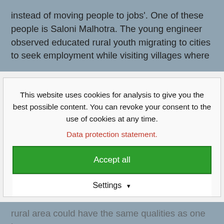instead of moving people to jobs'. One of these people is Saloni Malhotra. The young engineer observed educated rural youth migrating to cities to seek employment while visiting villages where
This website uses cookies for analysis to give you the best possible content. You can revoke your consent to the use of cookies at any time.
Data protection statement.
Accept all
Settings
rural area could have the same qualities as one in a town. "We had to convince clients sceptical about the security of their data, turnaround time and quality of work, or that a rural BPO was as good as one in the city," recalls Ashwanth Gnanavelu, Business Head at